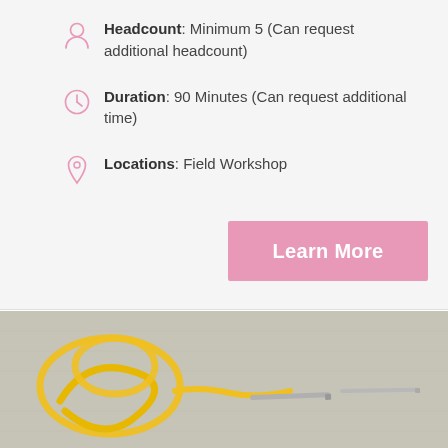Headcount: Minimum 5 (Can request additional headcount)
Duration: 90 Minutes (Can request additional time)
Locations: Field Workshop
Learn More
[Figure (photo): Close-up of grey linen fabric with yellow thread loops and two sewing needles on the surface]